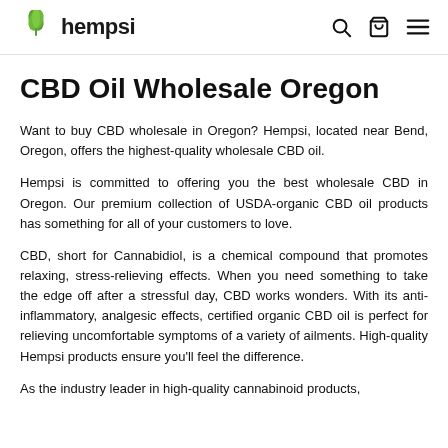hempsi
CBD Oil Wholesale Oregon
Want to buy CBD wholesale in Oregon? Hempsi, located near Bend, Oregon, offers the highest-quality wholesale CBD oil.
Hempsi is committed to offering you the best wholesale CBD in Oregon. Our premium collection of USDA-organic CBD oil products has something for all of your customers to love.
CBD, short for Cannabidiol, is a chemical compound that promotes relaxing, stress-relieving effects. When you need something to take the edge off after a stressful day, CBD works wonders. With its anti-inflammatory, analgesic effects, certified organic CBD oil is perfect for relieving uncomfortable symptoms of a variety of ailments. High-quality Hempsi products ensure you'll feel the difference.
As the industry leader in high-quality cannabinoid products,